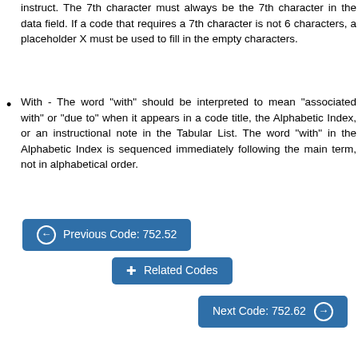instruct. The 7th character must always be the 7th character in the data field. If a code that requires a 7th character is not 6 characters, a placeholder X must be used to fill in the empty characters.
With - The word "with" should be interpreted to mean "associated with" or "due to" when it appears in a code title, the Alphabetic Index, or an instructional note in the Tabular List. The word "with" in the Alphabetic Index is sequenced immediately following the main term, not in alphabetical order.
Previous Code: 752.52
Related Codes
Next Code: 752.62